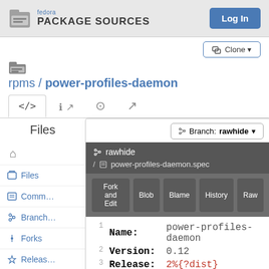fedora PACKAGE SOURCES | Log In
rpms / power-profiles-daemon
[Figure (screenshot): Navigation tabs row with code, info, download, and graph icons]
Files
Branch: rawhide
rawhide / power-profiles-daemon.spec
Fork and Edit | Blob | Blame | History | Raw
| Line | Key | Value |
| --- | --- | --- |
| 1 | Name: | power-profiles-daemon |
| 2 | Version: | 0.12 |
| 3 | Release: | 2%{?dist} |